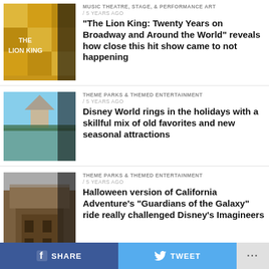[Figure (photo): Lion King Broadway show promotional image with colorful mosaic/poster design]
MUSIC THEATRE, STAGE, & PERFORMANCE ART / 5 years ago
“The Lion King: Twenty Years on Broadway and Around the World” reveals how close this hit show came to not happening
[Figure (photo): Disney World castle with holiday decorations and blue sky]
THEME PARKS & THEMED ENTERTAINMENT / 5 years ago
Disney World rings in the holidays with a skillful mix of old favorites and new seasonal attractions
[Figure (photo): Halloween version of California Adventure Guardians of the Galaxy ride building]
THEME PARKS & THEMED ENTERTAINMENT / 5 years ago
Halloween version of California Adventure’s “Guardians of the Galaxy” ride really challenged Disney’s Imagineers
[Figure (photo): Ralph Breaks the Internet movie promotional image with Wreck-It Ralph character]
NEWS & PRESS RELEASES / 4 years ago
Disney’s New Trailer Reveals How Ralph & Vanellope Get to the Internet in
SHARE
TWEET